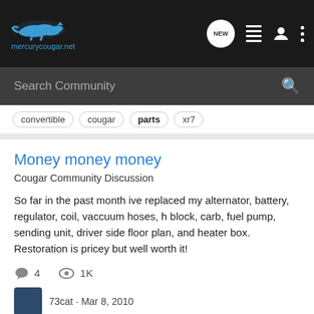mercurycougar.net — navigation bar with logo, NEW, list, user, and more icons
Search Community
convertible  cougar  parts  xr7
Money money money
Cougar Community Discussion
So far in the past month ive replaced my alternator, battery, regulator, coil, vaccuum hoses, h block, carb, fuel pump, sending unit, driver side floor plan, and heater box. Restoration is pricey but well worth it!
4 comments · 1K views
73cat · Mar 8, 2010
73 xr7  fuel sending  money  parts